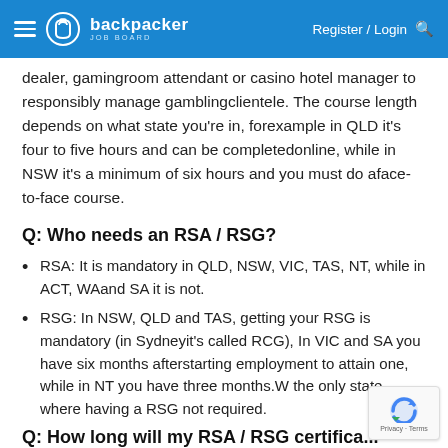backpacker JOB BOARD — Register / Login
dealer, gamingroom attendant or casino hotel manager to responsibly manage gamblingclientele. The course length depends on what state you're in, forexample in QLD it's four to five hours and can be completedonline, while in NSW it's a minimum of six hours and you must do aface-to-face course.
Q: Who needs an RSA / RSG?
RSA: It is mandatory in QLD, NSW, VIC, TAS, NT, while in ACT, WAand SA it is not.
RSG: In NSW, QLD and TAS, getting your RSG is mandatory (in Sydneyit's called RCG), In VIC and SA you have six months afterstarting employment to attain one, while in NT you have three months.W the only state where having a RSG not required.
Q: How long will my RSA / RSG certifica...